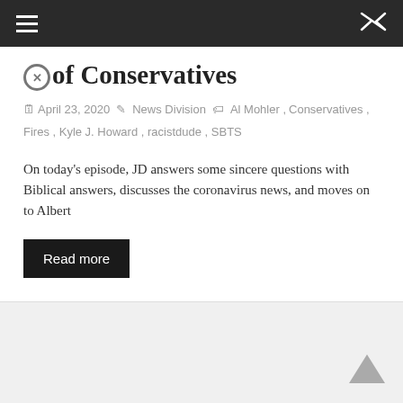Navigation bar with hamburger menu and shuffle icon
of Conservatives
April 23, 2020  News Division  Al Mohler, Conservatives, Fires, Kyle J. Howard, racistdude, SBTS
On today's episode, JD answers some sincere questions with Biblical answers, discusses the coronavirus news, and moves on to Albert
Read more